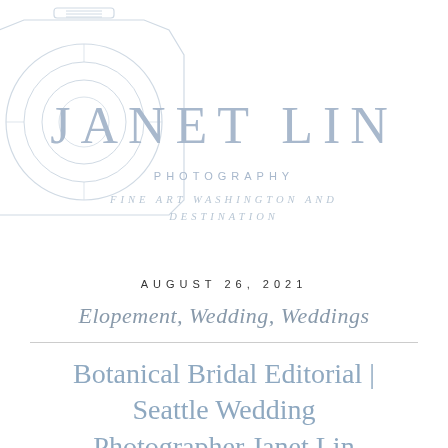[Figure (logo): Camera lens/body outline logo watermark in light blue-gray]
JANET LIN
PHOTOGRAPHY
FINE ART WASHINGTON AND DESTINATION
AUGUST 26, 2021
Elopement, Wedding, Weddings
Botanical Bridal Editorial | Seattle Wedding Photographer Janet Lin